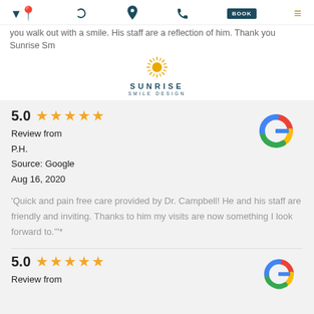Sunrise Smile Design – navigation bar with location, phone, BOOK, and menu icons
you walk out with a smile. His staff are a reflection of him. Thank you Sunrise Sm...
[Figure (logo): Sunrise Smile Design logo: golden sunburst above the text SUNRISE SMILE DESIGN in dark teal]
5.0 ★★★★★
Review from
P.H.
Source: Google
Aug 16, 2020
[Figure (logo): Google 'G' logo in red, yellow, green, blue]
'Quick and pain free care provided by Dr. Campbell! He and his staff are friendly and inviting. Thanks to him my visits are now something I look forward to."*
5.0 ★★★★★
Review from
[Figure (logo): Google 'G' logo in red, yellow, green, blue (partial, bottom of page)]